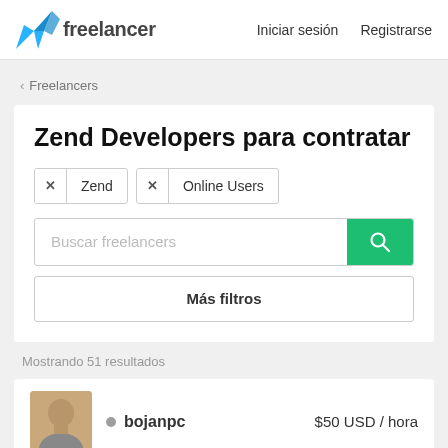[Figure (logo): Freelancer.com logo with blue origami bird icon and 'freelancer' wordmark]
Iniciar sesión   Registrarse
‹ Freelancers
Zend Developers para contratar
✕ Zend   ✕ Online Users
Buscar freelancers
Más filtros
Mostrando 51 resultados
bojanpc   $50 USD / hora